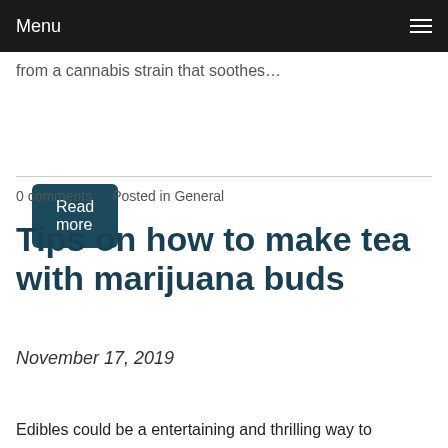Menu
from a cannabis strain that soothes…
Read more
0 comments   Posted in General
Tips on how to make tea with marijuana buds
November 17, 2019
Edibles could be a entertaining and thrilling way to